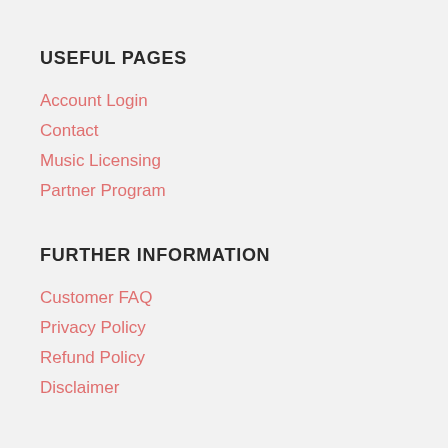USEFUL PAGES
Account Login
Contact
Music Licensing
Partner Program
FURTHER INFORMATION
Customer FAQ
Privacy Policy
Refund Policy
Disclaimer